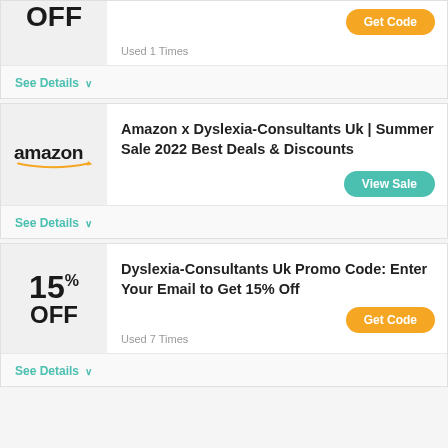OFF
Get Code
Used 1 Times
See Details
Amazon x Dyslexia-Consultants Uk | Summer Sale 2022 Best Deals & Discounts
[Figure (logo): Amazon logo with arrow]
View Sale
See Details
Dyslexia-Consultants Uk Promo Code: Enter Your Email to Get 15% Off
15% OFF
Get Code
Used 7 Times
See Details